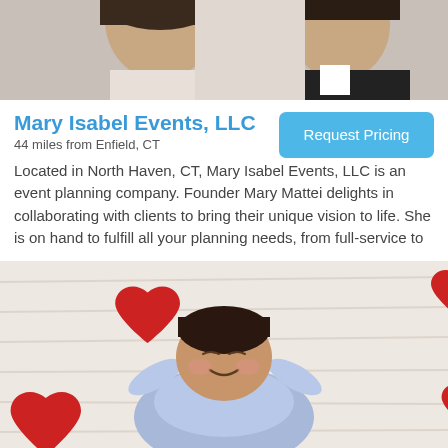[Figure (photo): Top portion of a photo showing two people, partially cropped]
Mary Isabel Events, LLC
44 miles from Enfield, CT
Request Pricing
Located in North Haven, CT, Mary Isabel Events, LLC is an event planning company. Founder Mary Mattei delights in collaborating with clients to bring their unique vision to life. She is on hand to fulfill all your planning needs, from full-service to
[Figure (photo): Photo of a young child lying on a fluffy white rug surrounded by red paper hearts, smiling with eyes closed and hands behind head]